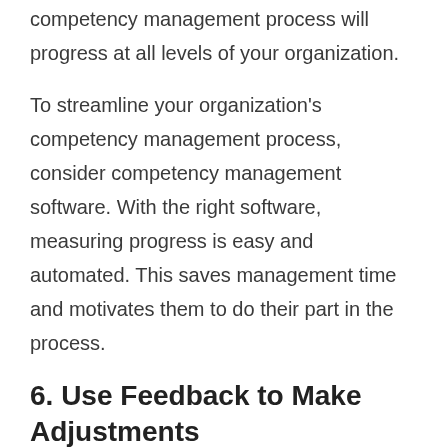competency management process will progress at all levels of your organization.
To streamline your organization's competency management process, consider competency management software. With the right software, measuring progress is easy and automated. This saves management time and motivates them to do their part in the process.
6. Use Feedback to Make Adjustments
A competency management process should never be stagnant. With the feedback gained from staff, you can learn more about challenges and brainstorm ways to adjust the framework, motivate staff, and plan for more